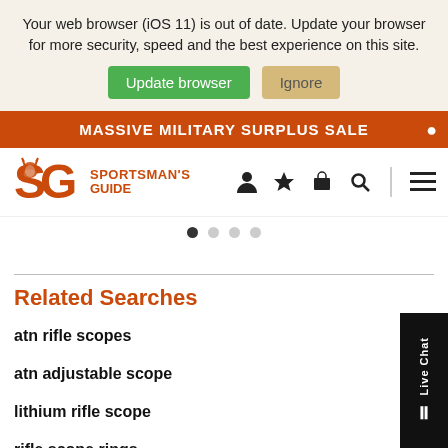Your web browser (iOS 11) is out of date. Update your browser for more security, speed and the best experience on this site.
Update browser   Ignore
MASSIVE MILITARY SURPLUS SALE
[Figure (logo): Sportsman's Guide logo with SG letters and deer icon, orange color]
Related Searches
atn rifle scopes
atn adjustable scope
lithium rifle scope
rifle scope rings